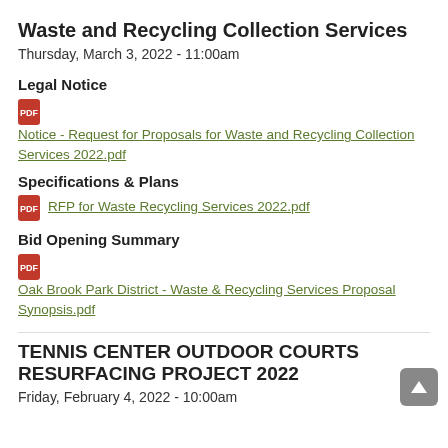Waste and Recycling Collection Services
Thursday, March 3, 2022 - 11:00am
Legal Notice
Notice - Request for Proposals for Waste and Recycling Collection Services 2022.pdf
Specifications & Plans
RFP for Waste Recycling Services 2022.pdf
Bid Opening Summary
Oak Brook Park District - Waste & Recycling Services Proposal Synopsis.pdf
TENNIS CENTER OUTDOOR COURTS RESURFACING PROJECT 2022
Friday, February 4, 2022 - 10:00am